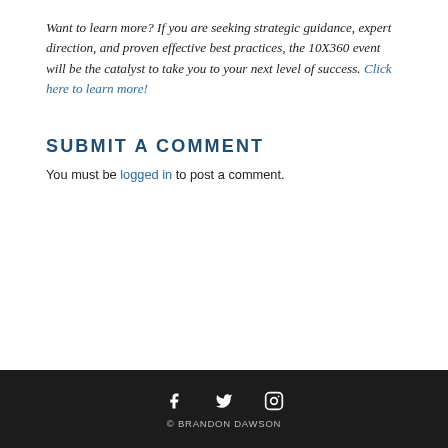Want to learn more? If you are seeking strategic guidance, expert direction, and proven effective best practices, the 10X360 event will be the catalyst to take you to your next level of success. Click here to learn more!
SUBMIT A COMMENT
You must be logged in to post a comment.
© BRANDON DAWSON